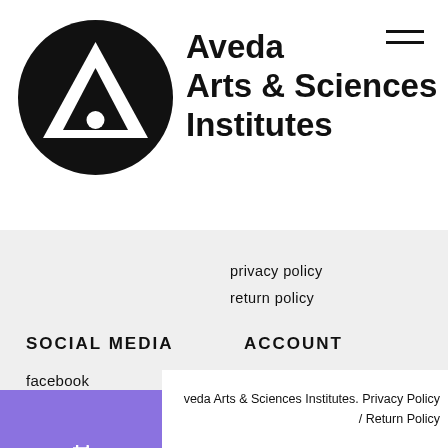[Figure (logo): Aveda Arts & Sciences Institutes logo: black circle with white triangle/A shape]
Aveda
Arts & Sciences
Institutes
privacy policy
return policy
SOCIAL MEDIA
ACCOUNT
facebook
sign in
[Figure (other): Live Chat button widget, purple background with rotated white text]
Aveda Arts & Sciences Institutes. Privacy Policy / Return Policy